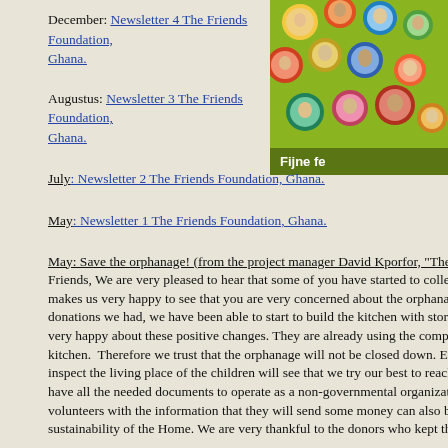December: Newsletter 4 The Friends Foundation, Ghana.
[Figure (photo): Group photo of people with faces visible, with text 'Fijne fe' partially visible, on a green background]
Augustus: Newsletter 3 The Friends Foundation, Ghana.
July: Newsletter 2 The Friends Foundation, Ghana.
May: Newsletter 1 The Friends Foundation, Ghana.
May: Save the orphanage! (from the project manager David Kporfor, "The F... Friends, We are very pleased to hear that some of you have started to collect... makes us very happy to see that you are very concerned about the orphanage... donations we had, we have been able to start to build the kitchen with store r... very happy about these positive changes. They are already using the compou... kitchen. Therefore we trust that the orphanage will not be closed down. Eve... inspect the living place of the children will see that we try our best to reach t... have all the needed documents to operate as a non-governmental organizatio... volunteers with the information that they will send some money can also be ... sustainability of the Home. We are very thankful to the donors who kept the